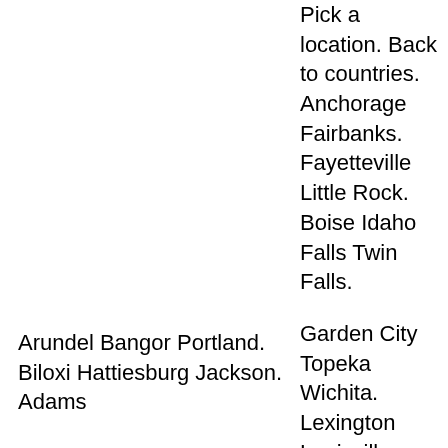Pick a location. Back to countries. Anchorage Fairbanks. Fayetteville Little Rock. Boise Idaho Falls Twin Falls.
Garden City Topeka Wichita. Lexington Louisville.
Arundel Bangor Portland. Biloxi Hattiesburg Jackson. Adams